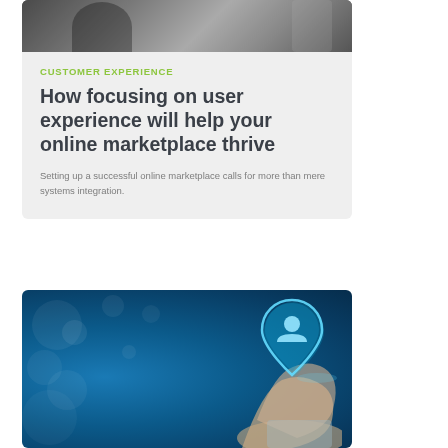[Figure (photo): Top portion of a card showing a person in dark clothing, partially visible at top]
CUSTOMER EXPERIENCE
How focusing on user experience will help your online marketplace thrive
Setting up a successful online marketplace calls for more than mere systems integration.
[Figure (photo): Blue bokeh background with a hand holding up a glowing location pin icon with a person silhouette inside]